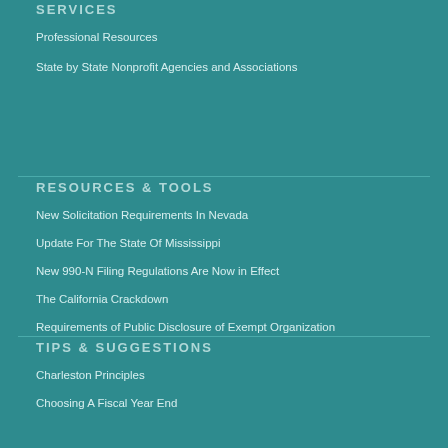SERVICES
Professional Resources
State by State Nonprofit Agencies and Associations
RESOURCES & TOOLS
New Solicitation Requirements In Nevada
Update For The State Of Mississippi
New 990-N Filing Regulations Are Now in Effect
The California Crackdown
Requirements of Public Disclosure of Exempt Organization
TIPS & SUGGESTIONS
Charleston Principles
Choosing A Fiscal Year End